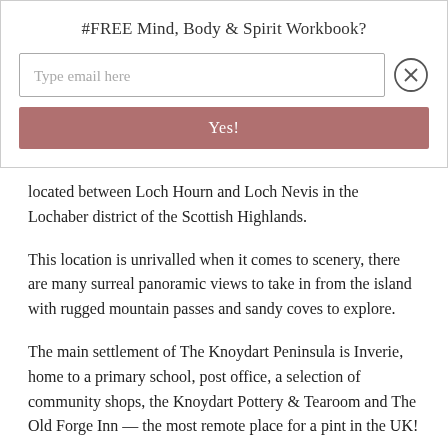#FREE Mind, Body & Spirit Workbook?
[Figure (other): Email signup modal with text input field placeholder 'Type email here', a close button (circled X), and a pink/rose 'Yes!' submit button]
located between Loch Hourn and Loch Nevis in the Lochaber district of the Scottish Highlands.
This location is unrivalled when it comes to scenery, there are many surreal panoramic views to take in from the island with rugged mountain passes and sandy coves to explore.
The main settlement of The Knoydart Peninsula is Inverie, home to a primary school, post office, a selection of community shops, the Knoydart Pottery & Tearoom and The Old Forge Inn — the most remote place for a pint in the UK!